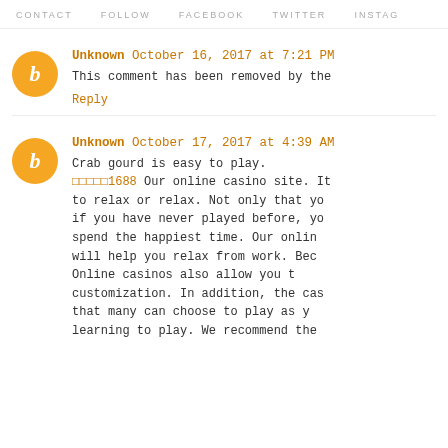CONTACT   FOLLOW   FACEBOOK   TWITTER   INSTAG
Unknown October 16, 2017 at 7:21 PM
This comment has been removed by the
Reply
Unknown October 17, 2017 at 4:39 AM
Crab gourd is easy to play.
[links]1688 Our online casino site. It to relax or relax. Not only that yo if you have never played before, yo spend the happiest time. Our onlin will help you relax from work. Bec Online casinos also allow you t customization. In addition, the cas that many can choose to play as y learning to play. We recommend the